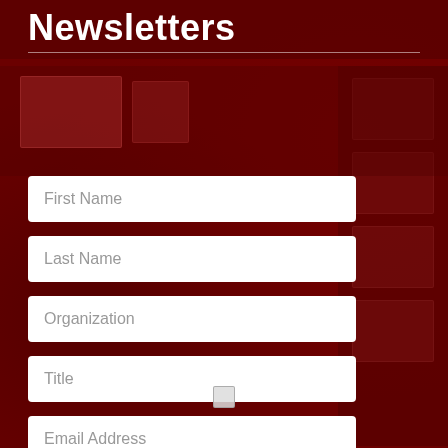Newsletters
[Figure (screenshot): Newsletter preview thumbnails on dark red background]
First Name
Last Name
Organization
Title
Email Address
[Figure (other): Checkbox input element]
Insider (Tuesday and Friday)